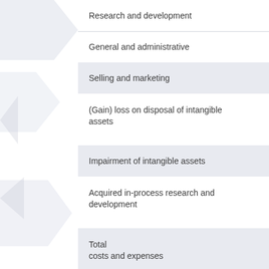| Research and development |
| General and administrative |
| Selling and marketing |
| (Gain) loss on disposal of intangible assets |
| Impairment of intangible assets |
| Acquired in-process research and development |
| Total costs and expenses |
|  |
| Loss |